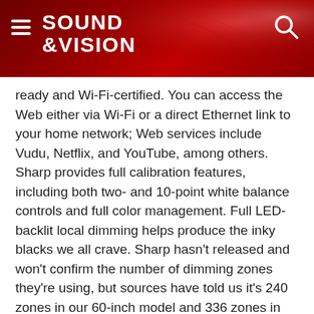SOUND &VISION
ready and Wi-Fi-certified. You can access the Web either via Wi-Fi or a direct Ethernet link to your home network; Web services include Vudu, Netflix, and YouTube, among others. Sharp provides full calibration features, including both two- and 10-point white balance controls and full color management. Full LED- backlit local dimming helps produce the inky blacks we all crave. Sharp hasn't released and won't confirm the number of dimming zones they're using, but sources have told us it's 240 zones in our 60-inch model and 336 zones in the 70-inch.
The Elite sets also offer Sharp's Advantage Live program. If a problem arises, you can establish a direct Internet connection between your set and